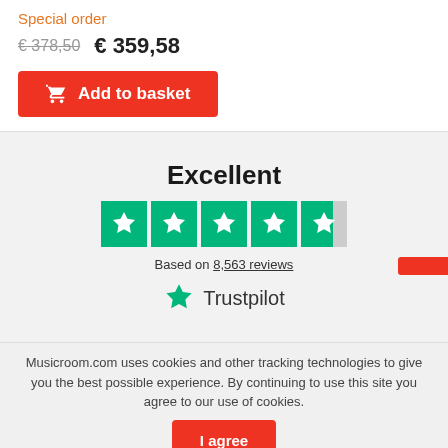Special order
€ 378,50  € 359,58
[Figure (other): Red 'Add to basket' button with shopping cart icon]
[Figure (other): Trustpilot rating widget showing Excellent with 4.5 stars based on 8,563 reviews]
Musicroom.com uses cookies and other tracking technologies to give you the best possible experience. By continuing to use this site you agree to our use of cookies.
[Figure (other): Red 'I agree' button for cookie consent]